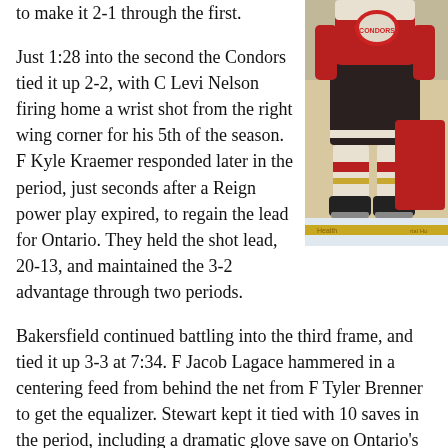to make it 2-1 through the first.
[Figure (photo): Hockey player in red and white Condors jersey and dark pants on ice, viewed from waist down, with skates visible. Another player partially visible in background.]
Just 1:28 into the second the Condors tied it up 2-2, with C Levi Nelson firing home a wrist shot from the right wing corner for his 5th of the season. F Kyle Kraemer responded later in the period, just seconds after a Reign power play expired, to regain the lead for Ontario. They held the shot lead, 20-13, and maintained the 3-2 advantage through two periods.
Bakersfield continued battling into the third frame, and tied it up 3-3 at 7:34. F Jacob Lagace hammered in a centering feed from behind the net from F Tyler Brenner to get the equalizer. Stewart kept it tied with 10 saves in the period, including a dramatic glove save on Ontario's resident NHLer RW Devin Setoguchi at the buzzer, and the game headed into overtime.
After a scoreless overtime, the Condors went to the shootout for the sixth time this season. The Reign scored twice in the shootout and the…